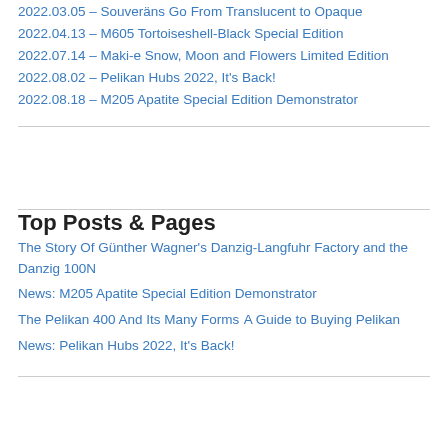2022.03.05 – Souveräns Go From Translucent to Opaque
2022.04.13 – M605 Tortoiseshell-Black Special Edition
2022.07.14 – Maki-e Snow, Moon and Flowers Limited Edition
2022.08.02 – Pelikan Hubs 2022, It's Back!
2022.08.18 – M205 Apatite Special Edition Demonstrator
Top Posts & Pages
The Story Of Günther Wagner's Danzig-Langfuhr Factory and the Danzig 100N
News: M205 Apatite Special Edition Demonstrator
The Pelikan 400 And Its Many Forms
A Guide to Buying Pelikan
News: Pelikan Hubs 2022, It's Back!